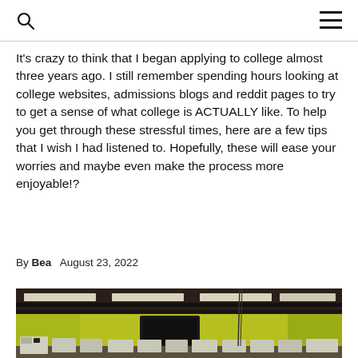It's crazy to think that I began applying to college almost three years ago. I still remember spending hours looking at college websites, admissions blogs and reddit pages to try to get a sense of what college is ACTUALLY like. To help you get through these stressful times, here are a few tips that I wish I had listened to. Hopefully, these will ease your worries and maybe even make the process more enjoyable!?
By Bea   August 23, 2022
[Figure (photo): Interior of a university engineering lab with yellow-green walls, fluorescent ceiling lights, and rows of electronic equipment and oscilloscopes on tables.]